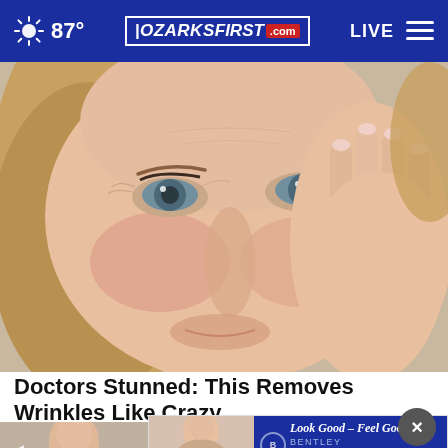87° | OZARKSFIRST.com | LIVE
[Figure (photo): Close-up photo of a middle-aged woman with blonde hair touching the corner of her eye with her right hand, light skin with visible wrinkles, looking upward slightly.]
Doctors Stunned: This Removes Wrinkles Like Crazy
Brilliance
[Figure (photo): Advertisement banner for Bentley Skincare & Wellness showing a woman with dark hair and text: Look Good – Feel Good, 1016 W Battlefield Rd., Springfield, MO 65807]